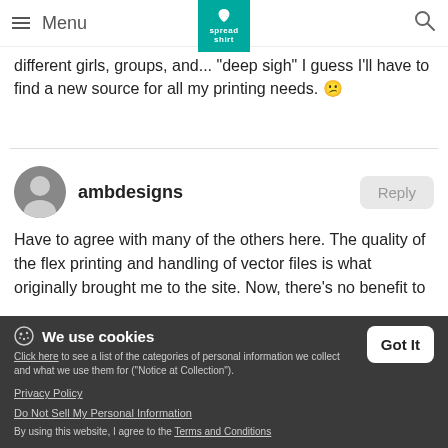Menu | Spreadshirt logo | Search
different girls, groups, and... "deep sigh" I guess I'll have to find a new source for all my printing needs. 😕
ambdesigns
Have to agree with many of the others here. The quality of the flex printing and handling of vector files is what originally brought me to the site. Now, there's no benefit to using SS as the printing is sub-par on dark colored... This directly affects the quality of my products and my... ve to look for another quality vendor.
We use cookies
Click here to see a list of the categories of personal information we collect and what we use them for ("Notice at Collection").
Privacy Policy
Do Not Sell My Personal Information
By using this website, I agree to the Terms and Conditions